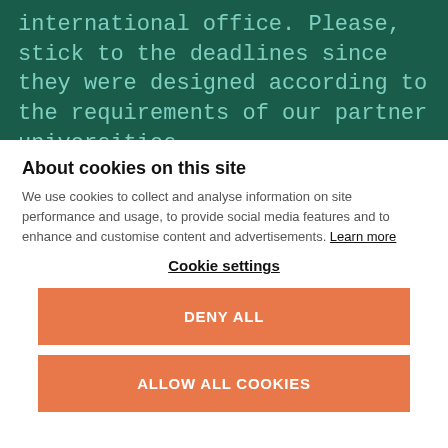international office. Please, stick to the deadlines since they were designed according to the requirements of our partner universities.
About cookies on this site
We use cookies to collect and analyse information on site performance and usage, to provide social media features and to enhance and customise content and advertisements. Learn more
Cookie settings
DENY ALL
ALLOW ALL COOKIES